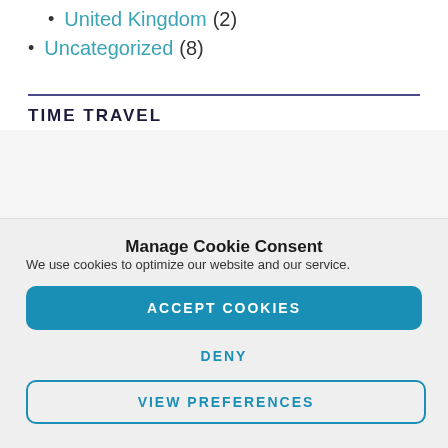United Kingdom (2)
Uncategorized (8)
TIME TRAVEL
Manage Cookie Consent
We use cookies to optimize our website and our service.
ACCEPT COOKIES
DENY
VIEW PREFERENCES